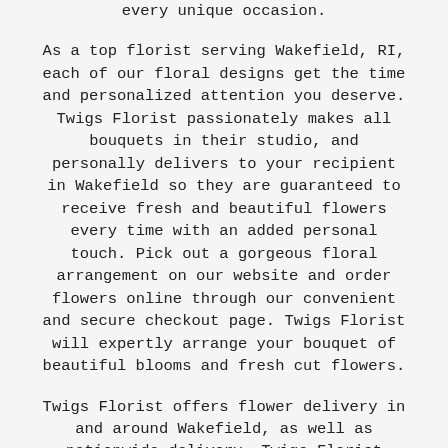every unique occasion.
As a top florist serving Wakefield, RI, each of our floral designs get the time and personalized attention you deserve. Twigs Florist passionately makes all bouquets in their studio, and personally delivers to your recipient in Wakefield so they are guaranteed to receive fresh and beautiful flowers every time with an added personal touch. Pick out a gorgeous floral arrangement on our website and order flowers online through our convenient and secure checkout page. Twigs Florist will expertly arrange your bouquet of beautiful blooms and fresh cut flowers.
Twigs Florist offers flower delivery in and around Wakefield, as well as nationwide delivery. Twigs Florist